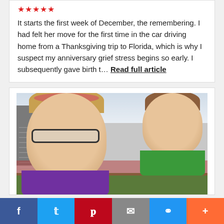It starts the first week of December, the remembering. I had felt her move for the first time in the car driving home from a Thanksgiving trip to Florida, which is why I suspect my anniversary grief stress begins so early. I subsequently gave birth t… Read full article
[Figure (photo): A woman with glasses and a floral headband smiling and holding a young child in a green shirt, at an outdoor event with buildings and crowd in the background.]
[Figure (other): Social share bar with Facebook, Twitter, Pinterest, Email, Link, and More buttons]